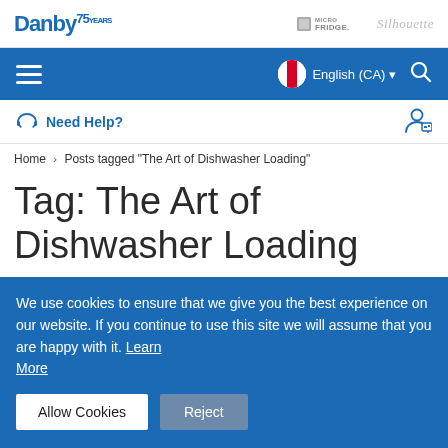Danby 75 YEARS | MICRO FRIDGE | Silhouette
Navigation bar with hamburger menu, English (CA) language selector, and search icon
Need Help? | Account icon
Home › Posts tagged "The Art of Dishwasher Loading"
Tag: The Art of Dishwasher Loading
We use cookies to ensure that we give you the best experience on our website. If you continue to use this site we will assume that you are happy with it. Learn More
Allow Cookies | Reject